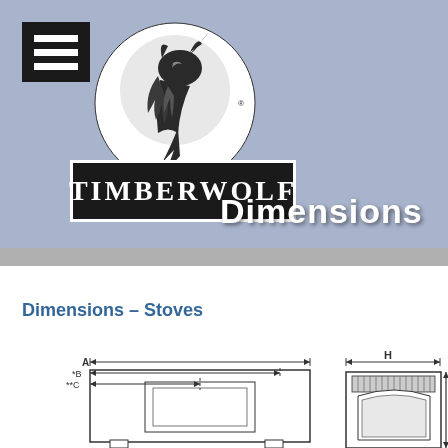[Figure (logo): Timberwolf brand logo with howling wolf in circle above TIMBERWOLF text on black background]
Dimensions
Dimensions – Stoves
[Figure (engineering-diagram): Technical dimension diagram of stoves showing labeled dimensions A, B, C on left side view and H on front view with arrows indicating measurements]